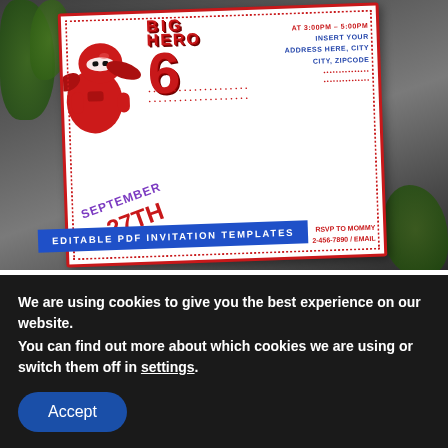[Figure (photo): Photo of a Big Hero 6 birthday party invitation card showing Baymax character, 'BIG HERO 6' text in bold red letters, 'SEPTEMBER 27TH' in purple/red, event details including time (3:00PM-5:00PM), address fields, and RSVP to Mommy info, placed on a natural background with foliage. A blue banner overlay reads 'EDITABLE PDF INVITATION TEMPLATES'.]
(Free Editable PDF) Adventure-Loving Baymax Big Hero 6 Birthday Invitation Templates
So, your kids love Big Hero 6? Mine too! What's not to
We are using cookies to give you the best experience on our website.
You can find out more about which cookies we are using or switch them off in settings.
Accept